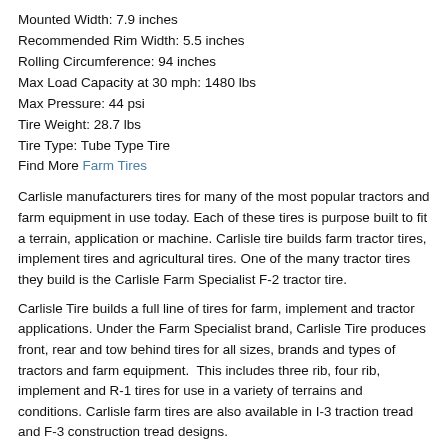Mounted Width: 7.9 inches
Recommended Rim Width: 5.5 inches
Rolling Circumference: 94 inches
Max Load Capacity at 30 mph: 1480 lbs
Max Pressure: 44 psi
Tire Weight: 28.7 lbs
Tire Type: Tube Type Tire
Find More Farm Tires
Carlisle manufacturers tires for many of the most popular tractors and farm equipment in use today. Each of these tires is purpose built to fit a terrain, application or machine. Carlisle tire builds farm tractor tires, implement tires and agricultural tires. One of the many tractor tires they build is the Carlisle Farm Specialist F-2 tractor tire.
Carlisle Tire builds a full line of tires for farm, implement and tractor applications. Under the Farm Specialist brand, Carlisle Tire produces front, rear and tow behind tires for all sizes, brands and types of tractors and farm equipment.  This includes three rib, four rib, implement and R-1 tires for use in a variety of terrains and conditions. Carlisle farm tires are also available in I-3 traction tread and F-3 construction tread designs.
Carlisle Tire has been building farm and tractor tires for a long time.  This allows them to build long lasting high quality tires that are both innovative and reliable. Carlisle Tire was founded in Carlisle, PA by